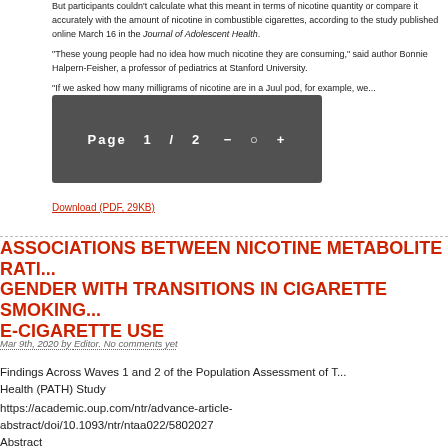But participants couldn't calculate what this meant in terms of nicotine quantity or compare it accurately with the amount of nicotine in combustible cigarettes, according to the study published online March 16 in the Journal of Adolescent Health.
"These young people had no idea how much nicotine they are consuming," said author Bonnie Halpern-Feisher, a professor of pediatrics at Stanford University.
"If we asked how many milligrams of nicotine are in a Juul pod, for example, we...
Download (PDF, 29KB)
ASSOCIATIONS BETWEEN NICOTINE METABOLITE RATIO AND GENDER WITH TRANSITIONS IN CIGARETTE SMOKING AND E-CIGARETTE USE
Mar 9th, 2020 by Editor. No comments yet
Findings Across Waves 1 and 2 of the Population Assessment of Tobacco and Health (PATH) Study
https://academic.oup.com/ntr/advance-article-abstract/doi/10.1093/ntr/ntaa022/5802027
Abstract